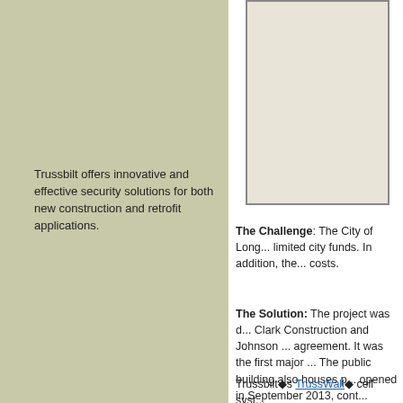Trussbilt offers innovative and effective security solutions for both new construction and retrofit applications.
[Figure (photo): Partial view of a building or construction photograph, cropped at the top and right edges, shown in a bordered box.]
The Challenge: The City of Long... limited city funds. In addition, the... costs.
The Solution: The project was d... Clark Construction and Johnson ... agreement. It was the first major ... The public building also houses p... opened in September 2013, cont...
Trussbilt’s TrussWall◆ cell syst...